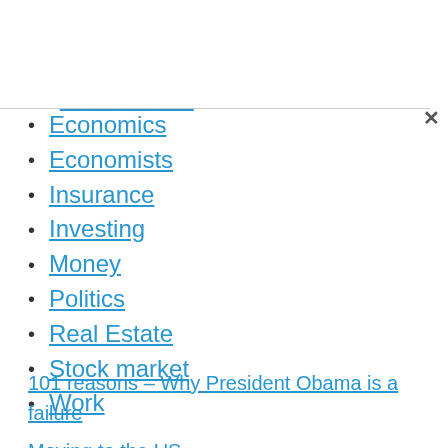Economics
Economists
Insurance
Investing
Money
Politics
Real Estate
Stock market
Work
101 reasons – Why President Obama is a failure
Moving to the US